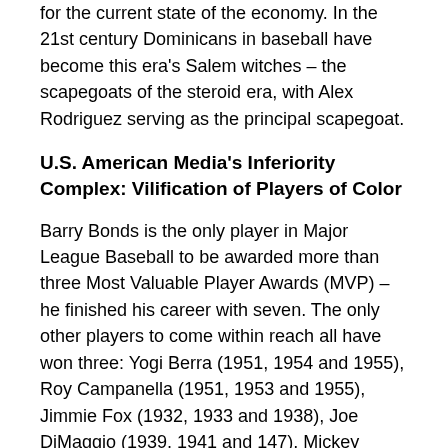for the current state of the economy. In the 21st century Dominicans in baseball have become this era's Salem witches – the scapegoats of the steroid era, with Alex Rodriguez serving as the principal scapegoat.
U.S. American Media's Inferiority Complex: Vilification of Players of Color
Barry Bonds is the only player in Major League Baseball to be awarded more than three Most Valuable Player Awards (MVP) – he finished his career with seven. The only other players to come within reach all have won three: Yogi Berra (1951, 1954 and 1955), Roy Campanella (1951, 1953 and 1955), Jimmie Fox (1932, 1933 and 1938), Joe DiMaggio (1939, 1941 and 147), Mickey Mantle (1956, 1957 and 1962), Stan Musial (1943, 1946 and 1948), Albert Pujols (2005, 2008 and 2009), Alex Rodriguez (2003, 2005 and 2007) and Mike Schmidt (1980, 1981 and 1986). It could be argued that